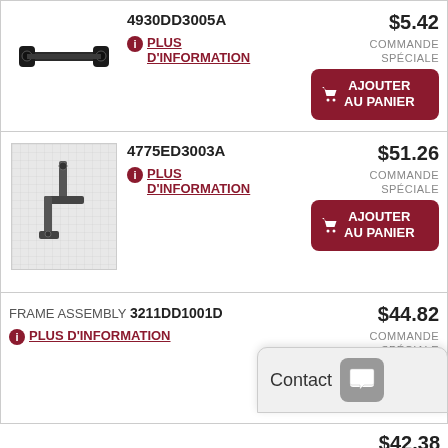[Figure (photo): Small black metal bracket part, part number 4930DD3005A]
4930DD3005A
PLUS D'INFORMATION
$5.42
COMMANDE SPÉCIALE
AJOUTER AU PANIER
[Figure (photo): Metal bracket part on grid background, part number 4775ED3003A]
4775ED3003A
PLUS D'INFORMATION
$51.26
COMMANDE SPÉCIALE
AJOUTER AU PANIER
FRAME ASSEMBLY 3211DD1001D
PLUS D'INFORMATION
$44.82
COMMANDE SPÉCIALE
AJOUTER AU PANIER
Contact
$42.38
COMMANDE